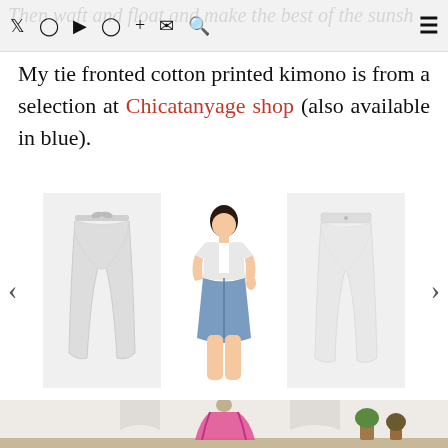Then waft and float and make the best of the sunshine (social icons nav bar)
My tie fronted cotton printed kimono is from a selection at Chicatanyage shop (also available in blue).
[Figure (photo): Carousel of clothing items: light grey jogger/drawstring trousers, a model wearing a white crop top with a denim mini skirt, and white slim trousers, with left and right navigation arrows]
[Figure (photo): Woman with short grey hair wearing sunglasses and a bright pink floral printed kimono over a white top, standing in front of a white building with gothic arched windows and potted plants]